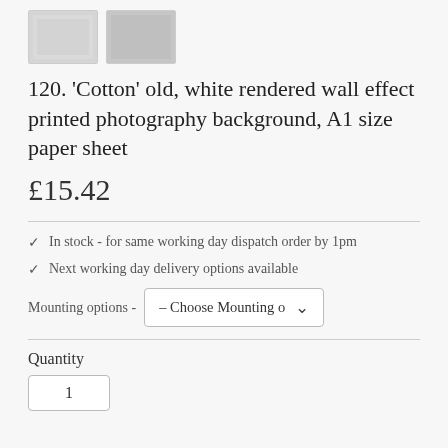[Figure (photo): Two thumbnail images of a white rendered wall effect photography background]
120. 'Cotton' old, white rendered wall effect printed photography background, A1 size paper sheet
£15.42
✓  In stock - for same working day dispatch order by 1pm
✓  Next working day delivery options available
Mounting options -  – Choose Mounting o
Quantity